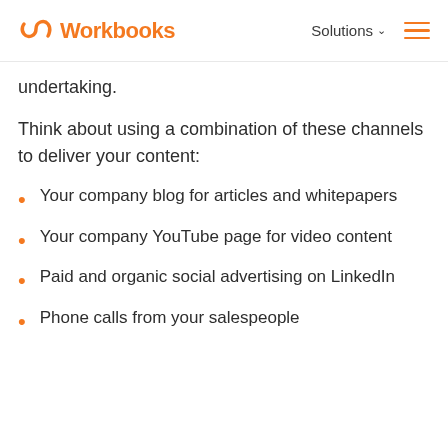Workbooks | Solutions
undertaking.
Think about using a combination of these channels to deliver your content:
Your company blog for articles and whitepapers
Your company YouTube page for video content
Paid and organic social advertising on LinkedIn
Phone calls from your salespeople